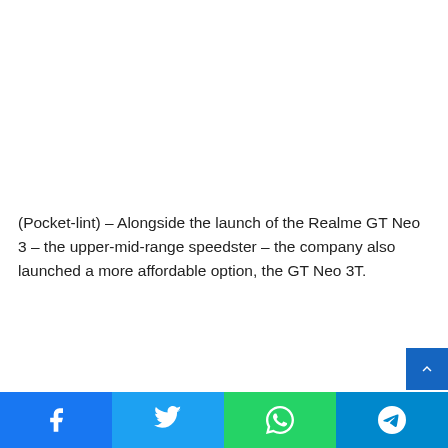(Pocket-lint) – Alongside the launch of the Realme GT Neo 3 – the upper-mid-range speedster – the company also launched a more affordable option, the GT Neo 3T.